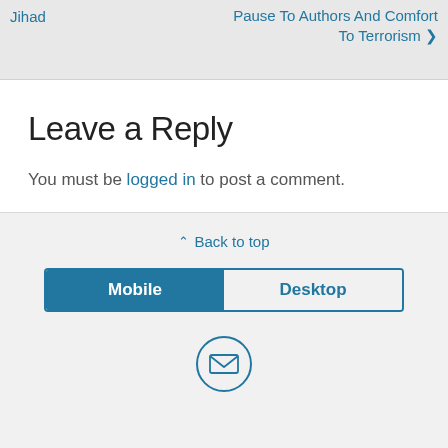Jihad | Pause To Authors And Comfort To Terrorism ❯
Leave a Reply
You must be logged in to post a comment.
⌃ Back to top
Mobile | Desktop
[Figure (other): Email envelope icon inside a circle]